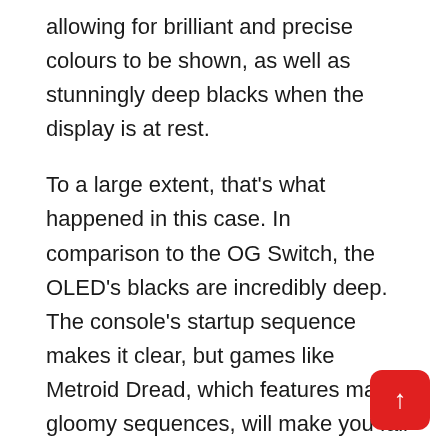allowing for brilliant and precise colours to be shown, as well as stunningly deep blacks when the display is at rest.
To a large extent, that’s what happened in this case. In comparison to the OG Switch, the OLED’s blacks are incredibly deep. The console’s startup sequence makes it clear, but games like Metroid Dread, which features many gloomy sequences, will make you fall in love with it even more. Colors are more vibrant, and the overall effect is less flat. It adds to the immersion and authenticity of the games. After playing on an OLED, it’s difficult to go back to using an LCD monitor.
It’s a shame that OLED technology doesn’t do much to boost the brightness of the Switch screen. This is the same issue I’ve encountered with the OG Switch in broad